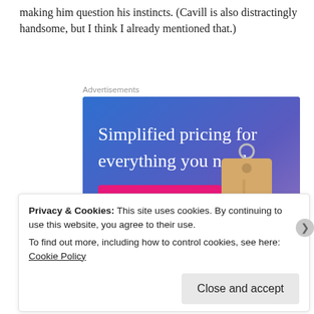making him question his instincts. (Cavill is also distractingly handsome, but I think I already mentioned that.)
[Figure (illustration): Advertisement banner with blue-to-purple gradient background, white serif text 'Simplified pricing for everything you need.', a pink 'Build Your Website' button, and a 3D price tag illustration on the right side.]
Privacy & Cookies: This site uses cookies. By continuing to use this website, you agree to their use.
To find out more, including how to control cookies, see here: Cookie Policy
Close and accept